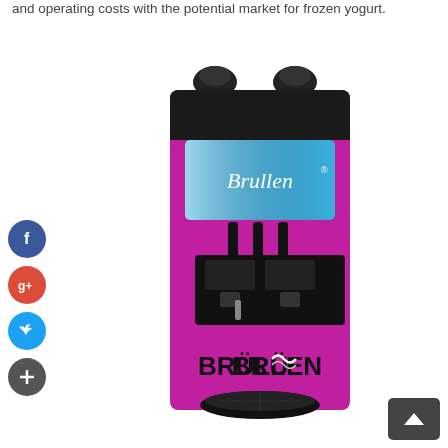and operating costs with the potential market for frozen yogurt.
[Figure (photo): Brullen brand frozen yogurt machine in bright purple/magenta color with black dispensing nozzles, control panel with blue screen displaying 'Brullen' logo, and BRÜLLEN text on the front panel.]
[Figure (infographic): Social media icons: Facebook (blue), Google+ (red), Twitter (blue), and a dark plus/add icon, arranged vertically on the left side of the page.]
[Figure (other): Scroll-to-top button (dark square with up arrow) in the bottom right corner.]